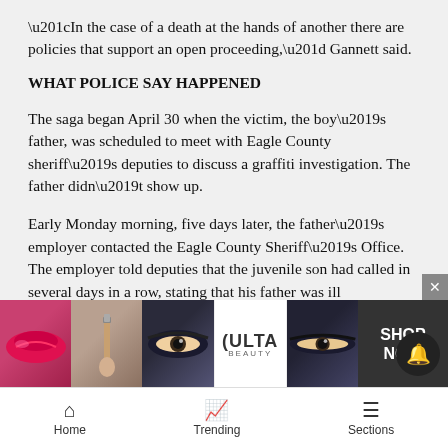“In the case of a death at the hands of another there are policies that support an open proceeding,” Gannett said.
WHAT POLICE SAY HAPPENED
The saga began April 30 when the victim, the boy’s father, was scheduled to meet with Eagle County sheriff’s deputies to discuss a graffiti investigation. The father didn’t show up.
Early Monday morning, five days later, the father’s employer contacted the Eagle County Sheriff’s Office. The employer told deputies that the juvenile son had called in several days in a row, stating that his father was ill
[Figure (photo): Ulta Beauty advertisement banner with makeup images (lips, brush, eye), Ulta logo, eyes, and SHOP NOW button]
Home   Trending   Sections